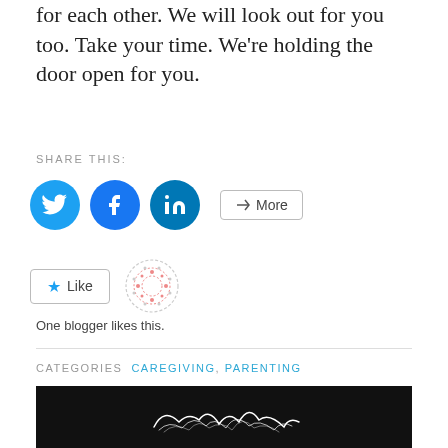for each other. We will look out for you too. Take your time. We're holding the door open for you.
SHARE THIS:
[Figure (other): Social share buttons: Twitter, Facebook, LinkedIn circles and a More button]
[Figure (other): Like button and avatar/gravatar icon for one blogger likes this]
One blogger likes this.
CATEGORIES  CAREGIVING, PARENTING
TAGS  #IMWITHHER, ELTON, FUNDRAISER, HILLARY CLINTON, JAMIE FOXX, KATY PERRY, NEW YORK CITY, VICTORY FUND
[Figure (photo): Black background image with white illustrated text/logo at bottom of page]